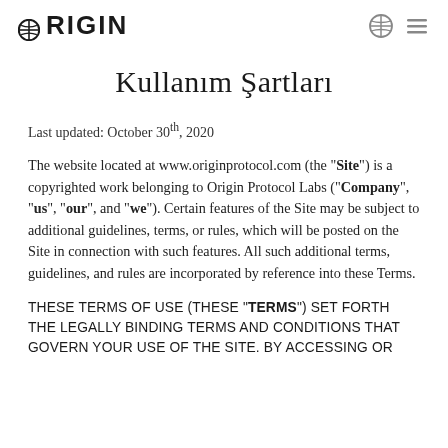ORIGIN
Kullanım Şartları
Last updated: October 30th, 2020
The website located at www.originprotocol.com (the "Site") is a copyrighted work belonging to Origin Protocol Labs ("Company", "us", "our", and "we"). Certain features of the Site may be subject to additional guidelines, terms, or rules, which will be posted on the Site in connection with such features. All such additional terms, guidelines, and rules are incorporated by reference into these Terms.
THESE TERMS OF USE (THESE "TERMS") SET FORTH THE LEGALLY BINDING TERMS AND CONDITIONS THAT GOVERN YOUR USE OF THE SITE. BY ACCESSING OR